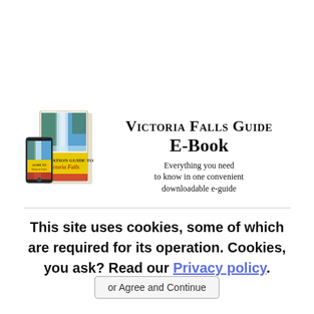[Figure (illustration): Victoria Falls Guide E-Book promotional banner showing a book cover with waterfall imagery and a smartphone, alongside text: 'Victoria Falls Guide E-Book — Everything you need to know in one convenient downloadable e-guide']
This site uses cookies, some of which are required for its operation. Cookies, you ask? Read our Privacy policy.
or Agree and Continue